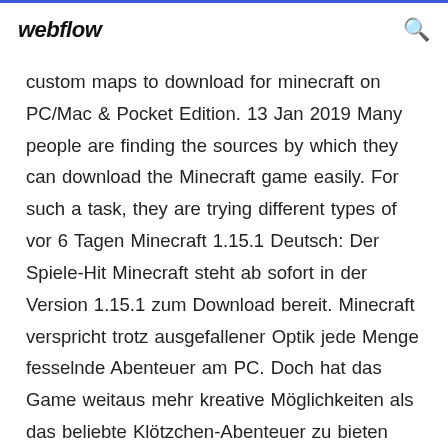webflow
custom maps to download for minecraft on PC/Mac & Pocket Edition. 13 Jan 2019 Many people are finding the sources by which they can download the Minecraft game easily. For such a task, they are trying different types of vor 6 Tagen Minecraft 1.15.1 Deutsch: Der Spiele-Hit Minecraft steht ab sofort in der Version 1.15.1 zum Download bereit. Minecraft verspricht trotz ausgefallener Optik jede Menge fesselnde Abenteuer am PC. Doch hat das Game weitaus mehr kreative Möglichkeiten als das beliebte Klötzchen-Abenteuer zu bieten  You can even team up with others for mini-adventures! • BUILD Method 1. Click "Download on PC" to download NoxPlayer and